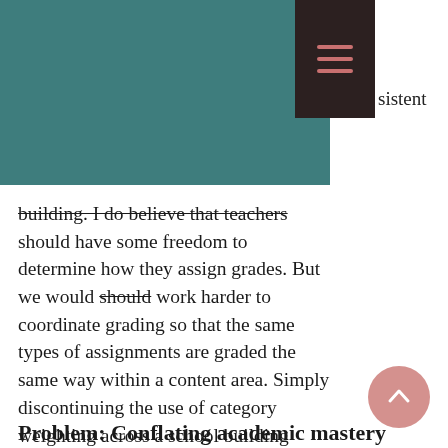sistent
building. I do believe that teachers should have some freedom to determine how they assign grades. But we would should work harder to coordinate grading so that the same types of assignments are graded the same way within a content area. Simply discontinuing the use of category weighting across a school building would go a long way towards eliminating the most glaring inconsistencies that students might notice.
Problem: Conflating academic mastery